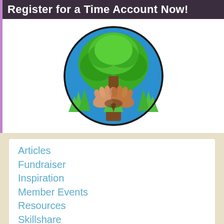Register for a Time Account Now!
[Figure (illustration): Circular illustration of a tree with green foliage against a blue sky background, with two hands holding the tree trunk from below, and green grass at the base.]
Articles
Fundraiser
Inspiration
Member Events
Resources
Skillshare
Staff Changes
Survey/Poll
Training